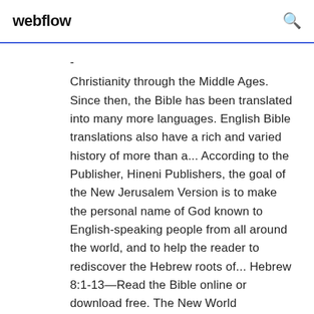webflow
- Christianity through the Middle Ages. Since then, the Bible has been translated into many more languages. English Bible translations also have a rich and varied history of more than a... According to the Publisher, Hineni Publishers, the goal of the New Jerusalem Version is to make the personal name of God known to English-speaking people from all around the world, and to help the reader to rediscover the Hebrew roots of... Hebrew 8:1-13—Read the Bible online or download free. The New World Translation of the Holy Scriptures is published by Jehovah's Witnesses. Bible online simin, ngaiyin, ahi louleh download. Jehovah Sakhite